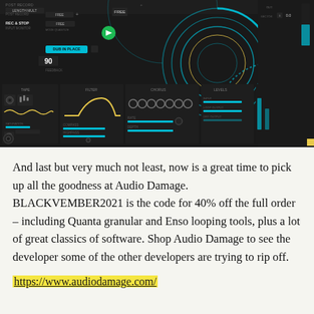[Figure (screenshot): Screenshot of Audio Damage synthesizer/looper plugin UI showing circular waveform visualizer, control panels with buttons labeled POST RECORD, REC & STOP, INPUT MONITOR, DUB IN PLACE, FEEDBACK knob set to 90, and effects blocks for TAPE, FILTER, CHORUS, SATURATION with teal/cyan colored bar controls on dark background]
And last but very much not least, now is a great time to pick up all the goodness at Audio Damage. BLACKVEMBER2021 is the code for 40% off the full order – including Quanta granular and Enso looping tools, plus a lot of great classics of software. Shop Audio Damage to see the developer some of the other developers are trying to rip off.
https://www.audiodamage.com/